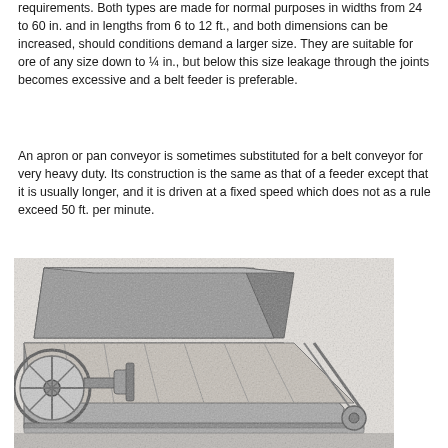requirements. Both types are made for normal purposes in widths from 24 to 60 in. and in lengths from 6 to 12 ft., and both dimensions can be increased, should conditions demand a larger size. They are suitable for ore of any size down to ¼ in., but below this size leakage through the joints becomes excessive and a belt feeder is preferable.
An apron or pan conveyor is sometimes substituted for a belt conveyor for very heavy duty. Its construction is the same as that of a feeder except that it is usually longer, and it is driven at a fixed speed which does not as a rule exceed 50 ft. per minute.
[Figure (photo): Black and white photograph of an apron/pan conveyor feeder machine, showing a large hopper on top, a drive wheel/flywheel on the left side, mechanical drive components, and a slanted conveyor/apron section extending to the right.]